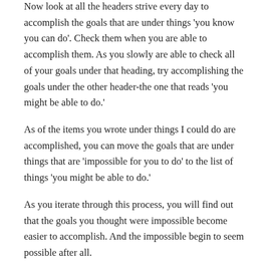Now look at all the headers strive every day to accomplish the goals that are under things 'you know you can do'. Check them when you are able to accomplish them. As you slowly are able to check all of your goals under that heading, try accomplishing the goals under the other header-the one that reads 'you might be able to do.'
As of the items you wrote under things I could do are accomplished, you can move the goals that are under things that are 'impossible for you to do' to the list of things 'you might be able to do.'
As you iterate through this process, you will find out that the goals you thought were impossible become easier to accomplish. And the impossible begin to seem possible after all.
You see that achieving what you initially thought...